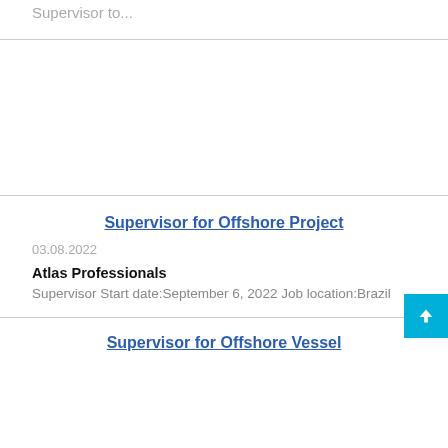Supervisor to...
Supervisor for Offshore Project
03.08.2022
Atlas Professionals
Supervisor Start date:September 6, 2022 Job location:Brazil
Supervisor for Offshore Vessel